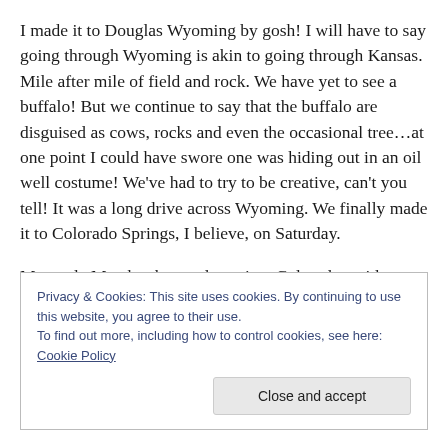I made it to Douglas Wyoming by gosh!  I will have to say going through Wyoming is akin to going through Kansas.  Mile after mile of field and rock.  We have yet to see a buffalo!  But we continue to say that the buffalo are disguised as cows, rocks and even the occasional tree…at one point I could have swore one was hiding out in an oil well costume!  We've had to try to be creative, can't you tell!  It was a long drive across Wyoming.  We finally made it to Colorado Springs, I believe, on Saturday.
My uncle Max has been a long time Colorado resident.
Privacy & Cookies: This site uses cookies. By continuing to use this website, you agree to their use.
To find out more, including how to control cookies, see here: Cookie Policy
[Close and accept]
…